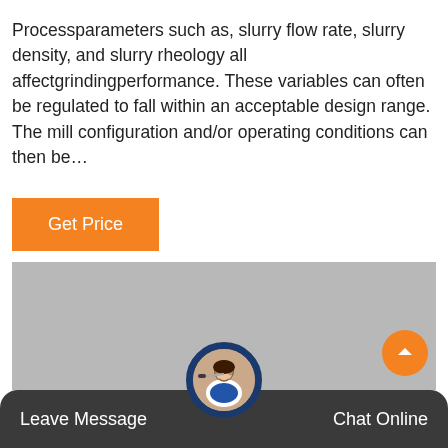Processparameters such as, slurry flow rate, slurry density, and slurry rheology all affectgrindingperformance. These variables can often be regulated to fall within an acceptable design range. The mill configuration and/or operating conditions can then be…
[Figure (other): Orange 'Get Price' button]
[Figure (photo): Grey placeholder image block]
[Figure (other): Bottom navigation bar with Leave Message and Chat Online buttons, and a customer service avatar in the center]